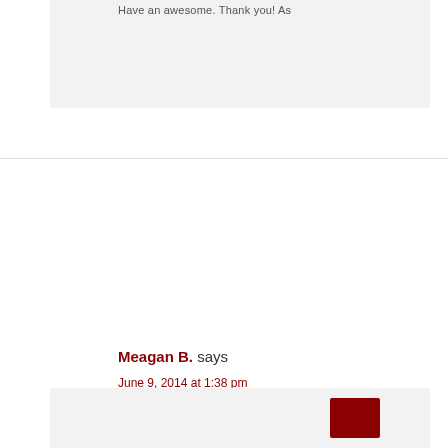Have an awesome. Thank you! As
Meagan B. says
June 9, 2014 at 1:38 pm
I believe you may have added to the value of that home and if I could afford it (and would be willing to move to Cali) I would be your new neighbor. Of course, you could borrow my bathroom at anytime and I would help with your holding your hair and let you pick out the bathmat color. By the way, I really think that SOMEONE has to make up the California missionary position – work on that.